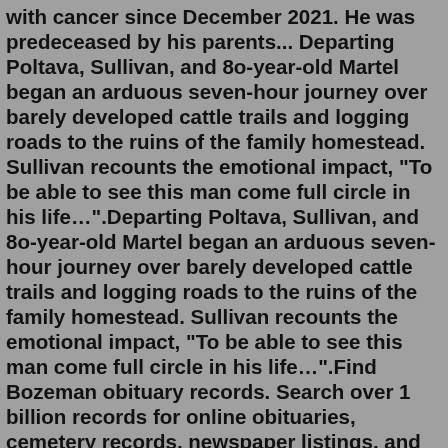with cancer since December 2021. He was predeceased by his parents... Departing Poltava, Sullivan, and 80-year-old Martel began an arduous seven-hour journey over barely developed cattle trails and logging roads to the ruins of the family homestead. Sullivan recounts the emotional impact, "To be able to see this man come full circle in his life…".Departing Poltava, Sullivan, and 80-year-old Martel began an arduous seven-hour journey over barely developed cattle trails and logging roads to the ruins of the family homestead. Sullivan recounts the emotional impact, "To be able to see this man come full circle in his life…".Find Bozeman obituary records. Search over 1 billion records for online obituaries, cemetery records, newspaper listings, and death records. Vital Records for for Bozeman, MTCelebrate the beauty of life by recording your favorite memories or sharing meaningful expressions of support on your loved one's social obituary page. Skip to content (406) 723-3221About Eagle Mount. With the help and support of a generous community,